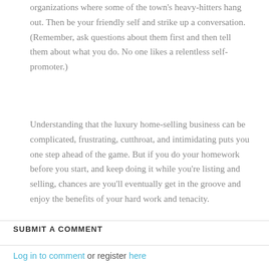organizations where some of the town's heavy-hitters hang out. Then be your friendly self and strike up a conversation. (Remember, ask questions about them first and then tell them about what you do. No one likes a relentless self-promoter.)
Understanding that the luxury home-selling business can be complicated, frustrating, cutthroat, and intimidating puts you one step ahead of the game. But if you do your homework before you start, and keep doing it while you're listing and selling, chances are you'll eventually get in the groove and enjoy the benefits of your hard work and tenacity.
SUBMIT A COMMENT
Log in to comment or register here